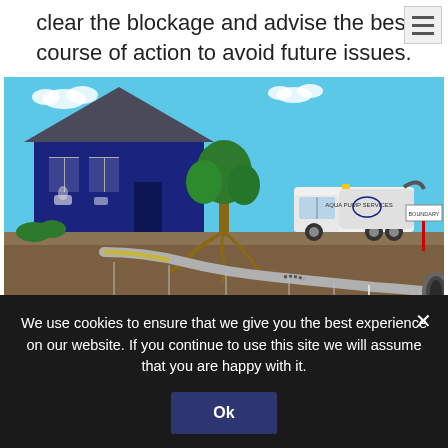clear the blockage and advise the best course of action to avoid future issues.
[Figure (illustration): Diagram showing a cross-section of a house and underground drainage system. Includes a house with bathroom fixtures visible, a tree with roots, an Aqua Pump Services vacuum tanker truck above ground, and underground pipes leading to the main sewer. Labels at the bottom indicate: DEBRIS, GREASE/GREASE, TREE ROOTS, BROKEN PIPE, OFFSET PIPE, BELLY, MAIN SEWER. A BOUNDARY sign is shown on the right near a red marker and the main sewer pipe.]
We use cookies to ensure that we give you the best experience on our website. If you continue to use this site we will assume that you are happy with it.